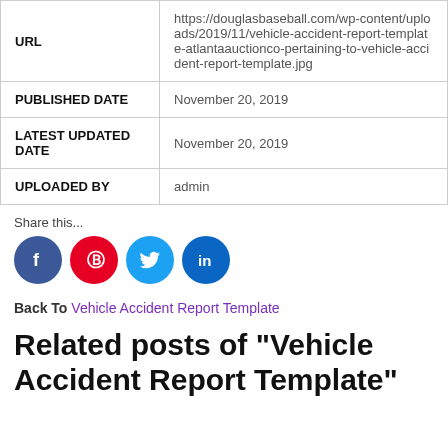| URL | https://douglasbaseball.com/wp-content/uploads/2019/11/vehicle-accident-report-template-atlantaauctionco-pertaining-to-vehicle-accident-report-template.jpg |
| PUBLISHED DATE | November 20, 2019 |
| LATEST UPDATED DATE | November 20, 2019 |
| UPLOADED BY | admin |
Share this...
[Figure (other): Social media share icons: Facebook, Pinterest, Twitter, LinkedIn]
Back To Vehicle Accident Report Template
Related posts of "Vehicle Accident Report Template"